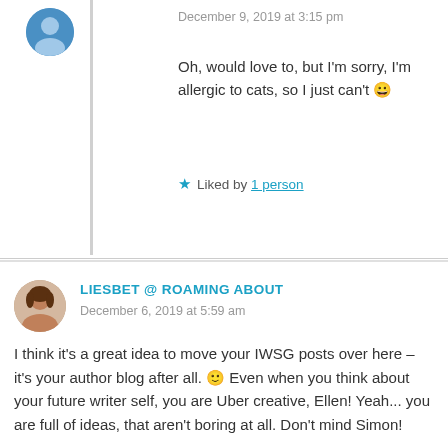December 9, 2019 at 3:15 pm
Oh, would love to, but I'm sorry, I'm allergic to cats, so I just can't 😀
★ Liked by 1 person
LIESBET @ ROAMING ABOUT
December 6, 2019 at 5:59 am
I think it's a great idea to move your IWSG posts over here – it's your author blog after all. 🙂 Even when you think about your future writer self, you are Uber creative, Ellen! Yeah... you are full of ideas, that aren't boring at all. Don't mind Simon!